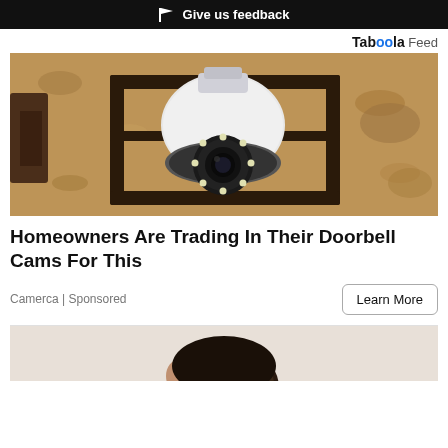Give us feedback
Tab00la Feed
[Figure (photo): A wall-mounted lantern-style outdoor light fixture with a security camera bulb installed inside it, showing a circular camera lens with LED ring. The background is a textured stucco wall in sandy/brown tones.]
Homeowners Are Trading In Their Doorbell Cams For This
Camerca | Sponsored
[Figure (photo): Partial view of a person's head (top/back), shown from behind, at the bottom of the page. Light background.]